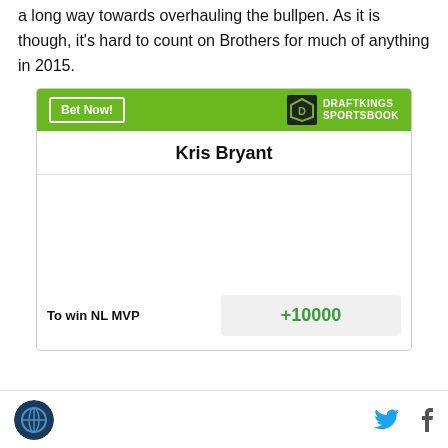a long way towards overhauling the bullpen. As it is though, it's hard to count on Brothers for much of anything in 2015.
[Figure (other): DraftKings Sportsbook betting widget showing Kris Bryant with odds +10000 To win NL MVP]
Site logo, Twitter share icon, Facebook share icon